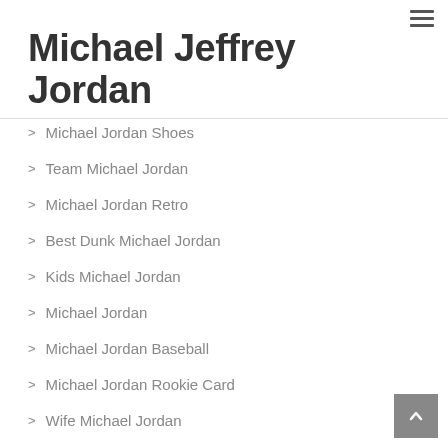Michael Jeffrey Jordan
Michael Jordan Shoes
Team Michael Jordan
Michael Jordan Retro
Best Dunk Michael Jordan
Kids Michael Jordan
Michael Jordan
Michael Jordan Baseball
Michael Jordan Rookie Card
Wife Michael Jordan